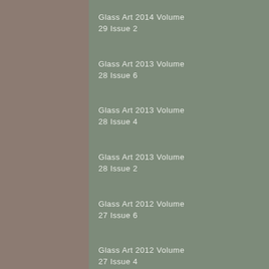Glass Art 2014 Volume 29 Issue 2
Glass Art 2014 Volume 29 Issue 1
Glass Art 2013 Volume 28 Issue 6
Glass Art 2013 Volume 28 Issue 5
Glass Art 2013 Volume 28 Issue 4
Glass Art 2013 Volume 28 Issue 3
Glass Art 2013 Volume 28 Issue 2
Glass Art 2013 Volume 28 Issue 1
Glass Art 2012 Volume 27 Issue 6
Glass Art 2012 Volume 27 Issue 5
Glass Art 2012 Volume 27 Issue 4
Glass Art 2012 Volume 27 Issue 3
Glass Art 2012 Volume 27 Issue 2
Glass Art 2012 Volume 27 Issue 1
Glass Art 2011 Volume 26 Issue 7
Glass Art 2011 Volume 26 Issue 6